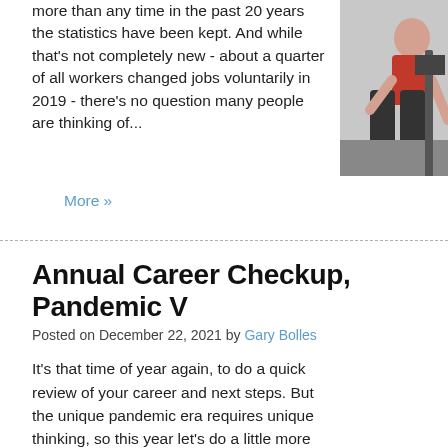more than any time in the past 20 years the statistics have been kept. And while that's not completely new - about a quarter of all workers changed jobs voluntarily in 2019 - there's no question many people are thinking of...
More »
Annual Career Checkup, Pandemic V
Posted on December 22, 2021 by Gary Bolles
It's that time of year again, to do a quick review of your career and next steps. But the unique pandemic era requires unique thinking, so this year let's do a little more homework.
Look back at the past year, and jot down answers to any of these questions that resonate with you.